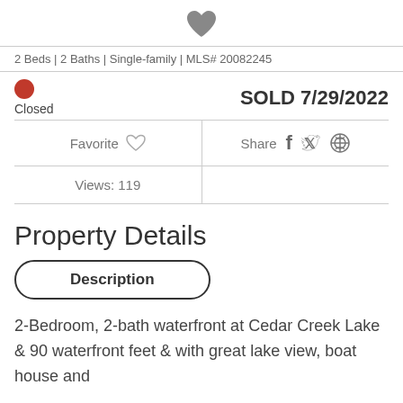[Figure (illustration): Dark gray filled heart icon centered at top]
2 Beds | 2 Baths | Single-family | MLS# 20082245
SOLD 7/29/2022
Closed
Favorite  |  Share
Views: 119
Property Details
Description
2-Bedroom, 2-bath waterfront at Cedar Creek Lake & 90 waterfront feet & with great lake view, boat house and